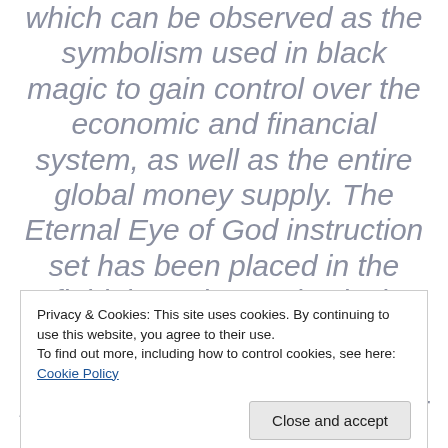which can be observed as the symbolism used in black magic to gain control over the economic and financial system, as well as the entire global money supply. The Eternal Eye of God instruction set has been placed in the field through our physical, embodied person, and our mission is to ensure that we hold this 144 cell schematic for the energetic balance of the planet. This begins another stage
Privacy & Cookies: This site uses cookies. By continuing to use this website, you agree to their use.
To find out more, including how to control cookies, see here: Cookie Policy
Communication Stations throughout the